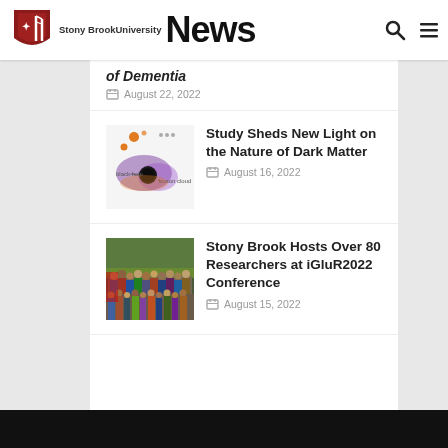Stony Brook University News
of Dementia — August 22, 2022
[Figure (illustration): Scientific diagram of a black hole and boson cloud, with orange dots and purple haze around a dark center, labeled 'black hole' and 'boson cloud']
Study Sheds New Light on the Nature of Dark Matter
August 16, 2022
[Figure (photo): Group photo of over 80 researchers gathered outdoors at the iGluR2022 conference at Stony Brook University]
Stony Brook Hosts Over 80 Researchers at iGluR2022 Conference
August 15, 2022